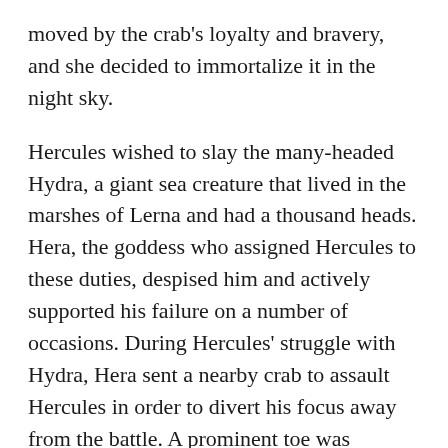moved by the crab's loyalty and bravery, and she decided to immortalize it in the night sky.
Hercules wished to slay the many-headed Hydra, a giant sea creature that lived in the marshes of Lerna and had a thousand heads. Hera, the goddess who assigned Hercules to these duties, despised him and actively supported his failure on a number of occasions. During Hercules' struggle with Hydra, Hera sent a nearby crab to assault Hercules in order to divert his focus away from the battle. A prominent toe was grabbed by the claws of the little monster without a moment's hesitation. The crab was killed as a result of Hercules' kick, which was so powerful that it was launched into the air.
As a result...